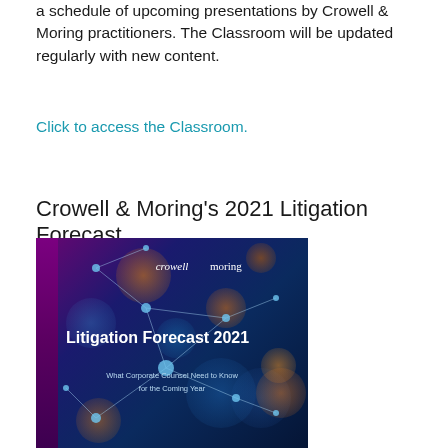a schedule of upcoming presentations by Crowell & Moring practitioners. The Classroom will be updated regularly with new content.
Click to access the Classroom.
Crowell & Moring's 2021 Litigation Forecast
[Figure (illustration): Cover image of Crowell & Moring's Litigation Forecast 2021 publication. Dark blue/purple background with bokeh light effects and network lines. Shows Crowell & Moring logo at top, title 'Litigation Forecast 2021' in white bold text, subtitle 'What Corporate Counsel Need to Know for the Coming Year' in lighter text.]